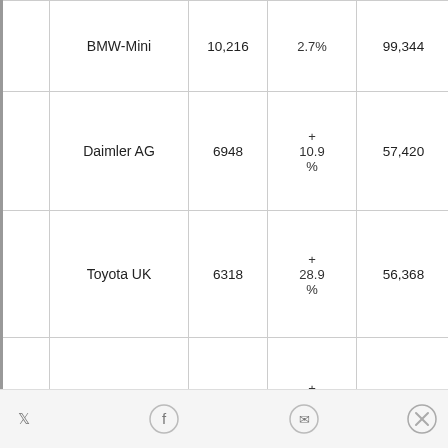|  | Manufacturer | Monthly Sales | % Change | YTD Sales | YTD Change |
| --- | --- | --- | --- | --- | --- |
|  | BMW-Mini | 10,216 | 2.7% | 99,344 | +... |
|  | Daimler AG | 6948 | + 10.9 % | 57,420 | +... |
|  | Toyota UK | 6318 | + 28.9 % | 56,368 | 19... |
|  | Fiat Group & Chrysler-Jeep | 4841 | + 32.4 % | 38,049 | +... |
|  |  |  |  |  |  |
Twitter  Facebook  Messenger  [close]